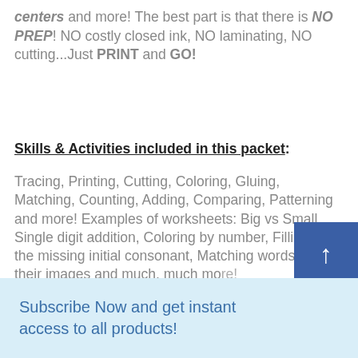centers and more! The best part is that there is NO PREP! NO costly closed ink, NO laminating, NO cutting...Just PRINT and GO!
Skills & Activities included in this packet:
Tracing, Printing, Cutting, Coloring, Gluing, Matching, Counting, Adding, Comparing, Patterning and more! Examples of worksheets: Big vs Small, Single digit addition, Coloring by number, Filling in the missing initial consonant, Matching words with their images and much, much more!
Subscribe Now and get instant access to all products!